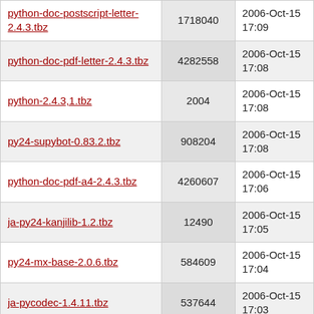| python-doc-postscript-letter-2.4.3.tbz | 1718040 | 2006-Oct-15 17:09 |
| python-doc-pdf-letter-2.4.3.tbz | 4282558 | 2006-Oct-15 17:08 |
| python-2.4.3,1.tbz | 2004 | 2006-Oct-15 17:08 |
| py24-supybot-0.83.2.tbz | 908204 | 2006-Oct-15 17:08 |
| python-doc-pdf-a4-2.4.3.tbz | 4260607 | 2006-Oct-15 17:06 |
| ja-py24-kanjilib-1.2.tbz | 12490 | 2006-Oct-15 17:05 |
| py24-mx-base-2.0.6.tbz | 584609 | 2006-Oct-15 17:04 |
| ja-pycodec-1.4.11.tbz | 537644 | 2006-Oct-15 17:03 |
| py24-dnspython-1.4.0.tbz | 154554 | 2006-Oct-15 17:02 |
| py24-ski-6.5.tbz | 11231 | 2006-Oct-15 17:01 |
| py24-irclib-0.4.6.tbz | 39104 | 2006-Oct-15 17:00 |